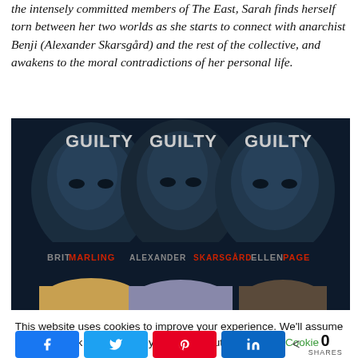the intensely committed members of The East, Sarah finds herself torn between her two worlds as she starts to connect with anarchist Benji (Alexander Skarsgård) and the rest of the collective, and awakens to the moral contradictions of her personal life.
[Figure (photo): Movie poster for 'The East' showing three faces with 'GUILTY' text overlay. Cast names: BRIT MARLING, ALEXANDER SKARSGÅRD, ELLEN PAGE shown in red/white text at the bottom of the dark blue-tinted poster.]
This website uses cookies to improve your experience. We'll assume you're ok with this, but you can opt-out if you wish. Cookie
< 0 SHARES